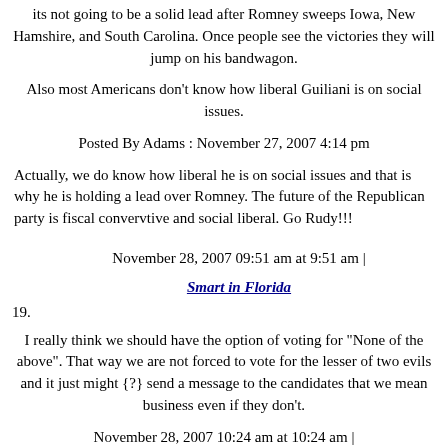its not going to be a solid lead after Romney sweeps Iowa, New Hamshire, and South Carolina. Once people see the victories they will jump on his bandwagon.
Also most Americans don't know how liberal Guiliani is on social issues.
Posted By Adams : November 27, 2007 4:14 pm
Actually, we do know how liberal he is on social issues and that is why he is holding a lead over Romney. The future of the Republican party is fiscal convervtive and social liberal. Go Rudy!!!
November 28, 2007 09:51 am at 9:51 am |
19. Smart in Florida
I really think we should have the option of voting for "None of the above". That way we are not forced to vote for the lesser of two evils and it just might {?} send a message to the candidates that we mean business even if they don't.
November 28, 2007 10:24 am at 10:24 am |
20. Fred Staggs, Oklahoma City, OK
Isn't the real story here, "Hillary leads Rudy 51-42 in new